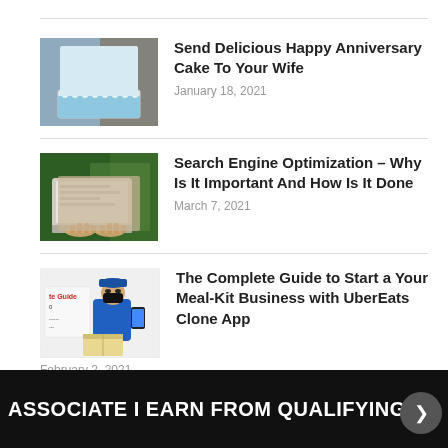Send Delicious Happy Anniversary Cake To Your Wife — January 18, 2021
Search Engine Optimization – Why Is It Important And How Is It Done — March 7, 2021
The Complete Guide to Start a Your Meal-Kit Business with UberEats Clone App — February 2, 2021
Benefits of Digital Marketing
ASSOCIATE I EARN FROM QUALIFYING